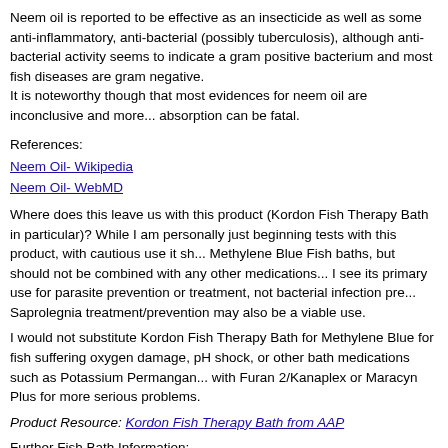Neem oil is reported to be effective as an insecticide as well as some anti-inflammatory, anti-bacterial (possibly tuberculosis), although anti-bacterial activity seems to indicate a gram positive bacterium and most fish diseases are gram negative. It is noteworthy though that most evidences for neem oil are inconclusive and more... absorption can be fatal.
References:
Neem Oil- Wikipedia
Neem Oil- WebMD
Where does this leave us with this product (Kordon Fish Therapy Bath in particular)? While I am personally just beginning tests with this product, with cautious use it sh... Methylene Blue Fish baths, but should not be combined with any other medications... I see its primary use for parasite prevention or treatment, not bacterial infection pre... Saprolegnia treatment/prevention may also be a viable use.
I would not substitute Kordon Fish Therapy Bath for Methylene Blue for fish suffering oxygen damage, pH shock, or other bath medications such as Potassium Permanganate, or with Furan 2/Kanaplex or Maracyn Plus for more serious problems.
Product Resource: Kordon Fish Therapy Bath from AAP
Further Fish Bath Information:
Fish Baths, Swabs, Dips
OREGON GRAPE ROOT, as an aquarium (& pond) treatment;